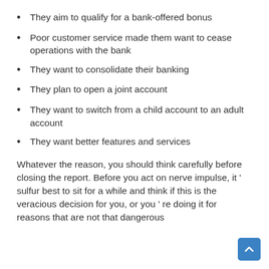They aim to qualify for a bank-offered bonus
Poor customer service made them want to cease operations with the bank
They want to consolidate their banking
They plan to open a joint account
They want to switch from a child account to an adult account
They want better features and services
Whatever the reason, you should think carefully before closing the report. Before you act on nerve impulse, it ’ sulfur best to sit for a while and think if this is the veracious decision for you, or you ’ re doing it for reasons that are not that dangerous